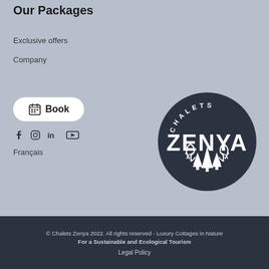Our Packages
Exclusive offers
Company
[Figure (other): Book button with calendar icon]
[Figure (other): Social media icons: Facebook, Instagram, LinkedIn, YouTube]
Français
[Figure (logo): Chalets Zenya circular logo with dark background, pine trees and antlers illustration]
© Chalets Zenya 2022. All rights reserved - Luxury Cottages in Nature For a Sustainable and Ecological Tourism  Legal Policy